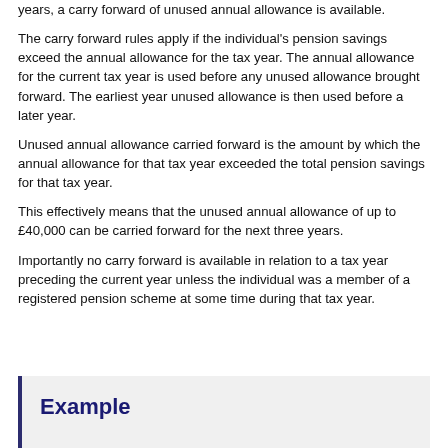years, a carry forward of unused annual allowance is available.
The carry forward rules apply if the individual's pension savings exceed the annual allowance for the tax year. The annual allowance for the current tax year is used before any unused allowance brought forward. The earliest year unused allowance is then used before a later year.
Unused annual allowance carried forward is the amount by which the annual allowance for that tax year exceeded the total pension savings for that tax year.
This effectively means that the unused annual allowance of up to £40,000 can be carried forward for the next three years.
Importantly no carry forward is available in relation to a tax year preceding the current year unless the individual was a member of a registered pension scheme at some time during that tax year.
Example